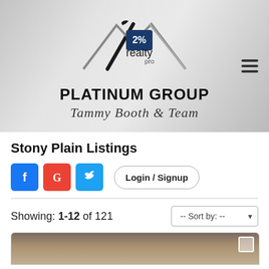[Figure (logo): 2% Realty Pro Platinum Group logo with mountain/roof graphic and 'Tammy Booth & Team' script text. Hamburger menu icon at top right.]
Stony Plain Listings
[Figure (infographic): Social media icons: Facebook (blue), Google (red), Twitter (blue), and a Login / Signup button]
Showing: 1-12 of 121
[Figure (screenshot): Partial real estate listing card image at bottom of page]